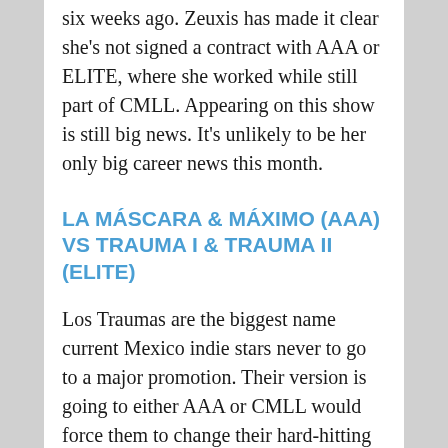six weeks ago. Zeuxis has made it clear she's not signed a contract with AAA or ELITE, where she worked while still part of CMLL. Appearing on this show is still big news. It's unlikely to be her only big career news this month.
LA MÁSCARA & MÁXIMO (AAA) VS TRAUMA I & TRAUMA II (ELITE)
Los Traumas are the biggest name current Mexico indie stars never to go to a major promotion. Their version is going to either AAA or CMLL would force them to change their hard-hitting submission style to fit in. The two sons of Negro Navarro have